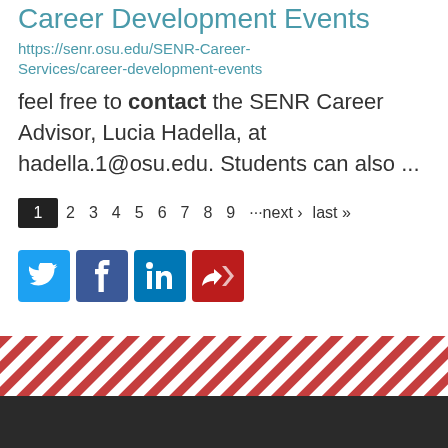Career Development Events
https://senr.osu.edu/SENR-Career-Services/career-development-events
feel free to contact the SENR Career Advisor, Lucia Hadella, at hadella.1@osu.edu. Students can also ...
1  2  3  4  5  6  7  8  9  ···next ›  last »
[Figure (other): Social media share buttons: Twitter, Facebook, LinkedIn, and a share icon]
[Figure (other): Red and white diagonal stripe decorative bar at page bottom, with dark footer below]